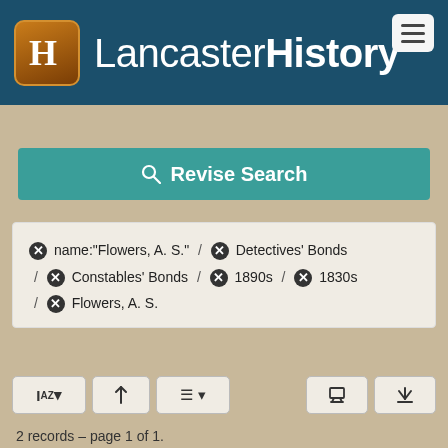[Figure (logo): LancasterHistory logo with brown H icon and white text on dark teal header bar]
Revise Search
✖ name:"Flowers, A. S." / ✖ Detectives' Bonds / ✖ Constables' Bonds / ✖ 1890s / ✖ 1830s / ✖ Flowers, A. S.
2 records – page 1 of 1.